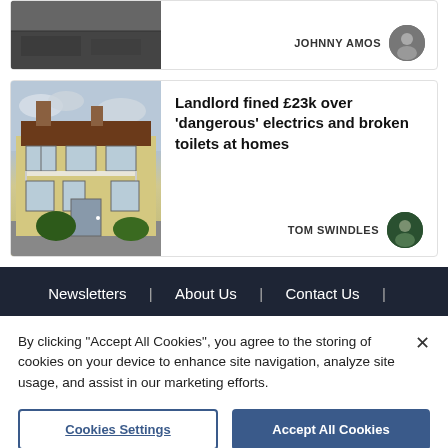[Figure (photo): Partial top card with dark road/pavement photo and author JOHNNY AMOS with avatar]
JOHNNY AMOS
[Figure (photo): Victorian terraced house with brown roof and cream/yellow facade]
Landlord fined £23k over 'dangerous' electrics and broken toilets at homes
TOM SWINDLES
Newsletters | About Us | Contact Us |
By clicking "Accept All Cookies", you agree to the storing of cookies on your device to enhance site navigation, analyze site usage, and assist in our marketing efforts.
Cookies Settings
Accept All Cookies